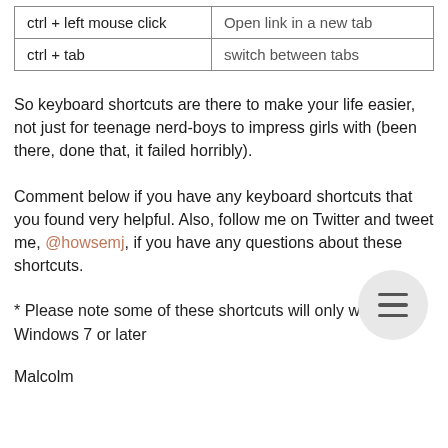| Shortcut | Action |
| --- | --- |
| ctrl + left mouse click | Open link in a new tab |
| ctrl + tab | switch between tabs |
So keyboard shortcuts are there to make your life easier, not just for teenage nerd-boys to impress girls with (been there, done that, it failed horribly).
Comment below if you have any keyboard shortcuts that you found very helpful. Also, follow me on Twitter and tweet me, @howsemj, if you have any questions about these shortcuts.
* Please note some of these shortcuts will only work on Windows 7 or later
Malcolm